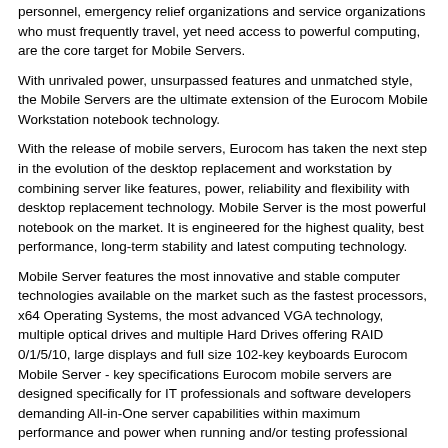personnel, emergency relief organizations and service organizations who must frequently travel, yet need access to powerful computing, are the core target for Mobile Servers.
With unrivaled power, unsurpassed features and unmatched style, the Mobile Servers are the ultimate extension of the Eurocom Mobile Workstation notebook technology.
With the release of mobile servers, Eurocom has taken the next step in the evolution of the desktop replacement and workstation by combining server like features, power, reliability and flexibility with desktop replacement technology. Mobile Server is the most powerful notebook on the market. It is engineered for the highest quality, best performance, long-term stability and latest computing technology.
Mobile Server features the most innovative and stable computer technologies available on the market such as the fastest processors, x64 Operating Systems, the most advanced VGA technology, multiple optical drives and multiple Hard Drives offering RAID 0/1/5/10, large displays and full size 102-key keyboards Eurocom Mobile Server - key specifications Eurocom mobile servers are designed specifically for IT professionals and software developers demanding All-in-One server capabilities within maximum performance and power when running and/or testing professional applications such as databases, CRM, etc.
Mobile Servers feature the most advanced computer technology, such as:
- High-performance upgradeable 64-bit 4-and 6-core Intel XEON processors
- Fully 64-bit compliant hardware
- 24 GB or more of high performance memory,
- Large capacity, high performance, redundant storage with RAID